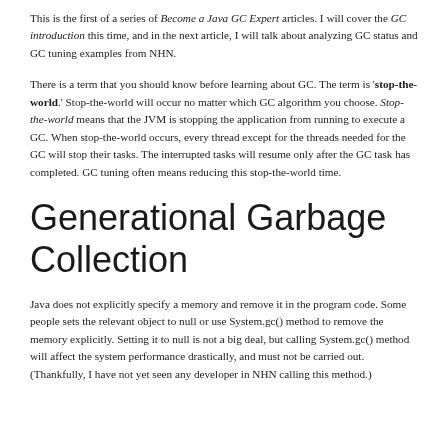This is the first of a series of 'Become a Java GC Expert' articles. I will cover the GC introduction this time, and in the next article, I will talk about analyzing GC status and GC tuning examples from NHN.
There is a term that you should know before learning about GC. The term is 'stop-the-world.' Stop-the-world will occur no matter which GC algorithm you choose. Stop-the-world means that the JVM is stopping the application from running to execute a GC. When stop-the-world occurs, every thread except for the threads needed for the GC will stop their tasks. The interrupted tasks will resume only after the GC task has completed. GC tuning often means reducing this stop-the-world time.
Generational Garbage Collection
Java does not explicitly specify a memory and remove it in the program code. Some people sets the relevant object to null or use System.gc() method to remove the memory explicitly. Setting it to null is not a big deal, but calling System.gc() method will affect the system performance drastically, and must not be carried out. (Thankfully, I have not yet seen any developer in NHN calling this method.)